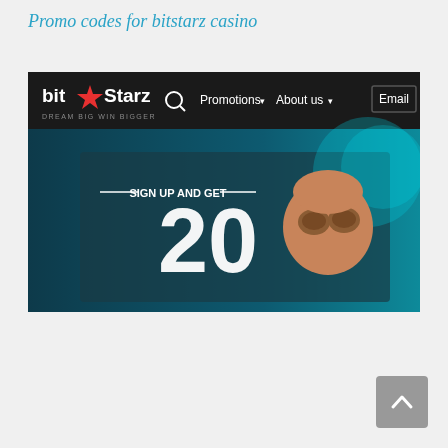Promo codes for bitstarz casino
[Figure (screenshot): Screenshot of the BitStarz casino website showing the navigation bar with logo 'bit★Starz DREAM BIG WIN BIGGER', search icon, Promotions dropdown, About us dropdown, and Email button. Below is a promotional banner with teal/dark background showing 'SIGN UP AND GET 20' text in large white letters with a cartoon character peeking from the right.]
[Figure (other): Scroll-to-top button in bottom-right corner, gray rounded square with white upward arrow icon.]